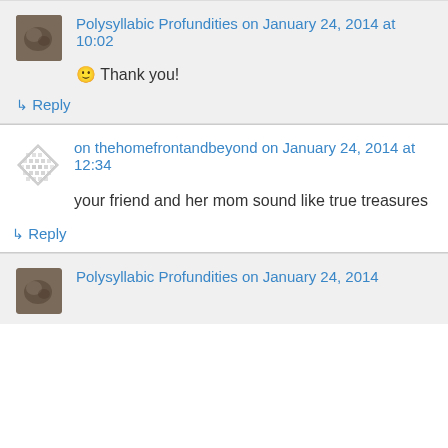Polysyllabic Profundities on January 24, 2014 at 10:02
🙂 Thank you!
↳ Reply
on thehomefrontandbeyond on January 24, 2014 at 12:34
your friend and her mom sound like true treasures
↳ Reply
Polysyllabic Profundities on January 24, 2014